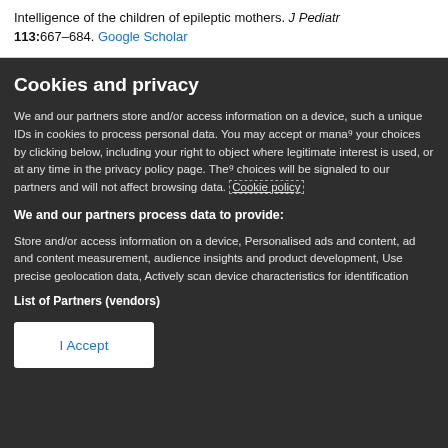Intelligence of the children of epileptic mothers. J Pediatr 113:667–684. Google Scholar
Cookies and privacy
We and our partners store and/or access information on a device, such as unique IDs in cookies to process personal data. You may accept or manage your choices by clicking below, including your right to object where legitimate interest is used, or at any time in the privacy policy page. These choices will be signaled to our partners and will not affect browsing data. Cookie policy
We and our partners process data to provide:
Store and/or access information on a device, Personalised ads and content, ad and content measurement, audience insights and product development, Use precise geolocation data, Actively scan device characteristics for identification
List of Partners (vendors)
I Accept